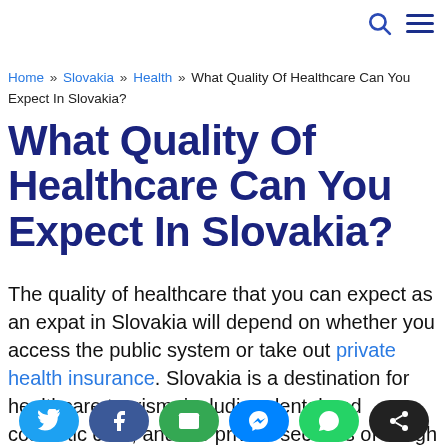Search and Menu icons
Home » Slovakia » Health » What Quality Of Healthcare Can You Expect In Slovakia?
What Quality Of Healthcare Can You Expect In Slovakia?
The quality of healthcare that you can expect as an expat in Slovakia will depend on whether you access the public system or take out private health insurance. Slovakia is a destination for healthcare tourism, including dental and cosmetic care, and the private sector is of a high
[Figure (other): Social share buttons row: Twitter (blue), Facebook (dark blue), Email (green), Messenger (blue), WhatsApp (green), Share (black)]